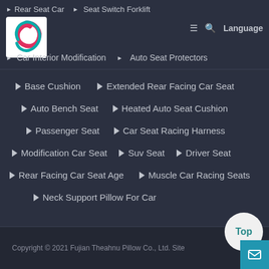Rear Seat Car | Seat Switch Forklift | Car Interior Modification | Auto Seat Protectors
[Figure (logo): Fujian Theahnu Pillow Co., Ltd. logo with red and teal swirl design]
Base Cushion
Extended Rear Facing Car Seat
Auto Bench Seat
Heated Auto Seat Cushion
Passenger Seat
Car Seat Racing Harness
Modification Car Seat
Suv Seat
Driver Seat
Rear Facing Car Seat Age
Muscle Car Racing Seats
Neck Support Pillow For Car
Copyright © 2021 Fujian Theahnu Pillow Co., Ltd. Site...